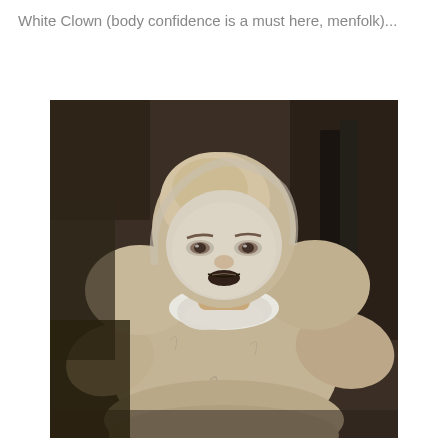White Clown (body confidence is a must here, menfolk)...
[Figure (illustration): Painting of a bald, heavyset male figure in a white clown costume with a ruffled collar, depicted in a crouched pose against a dark brown background. The figure wears theatrical white face makeup with darkened lips. The style is painterly and realistic.]